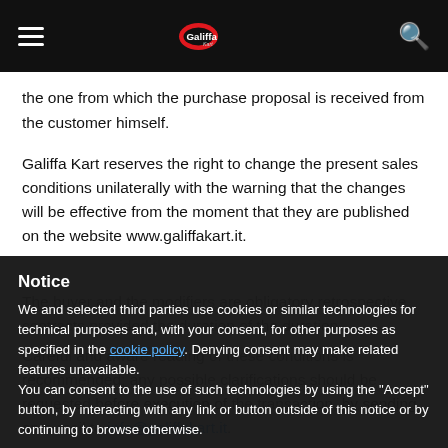Galiffa Kart [navigation header]
the one from which the purchase proposal is received from the customer himself.
Galiffa Kart reserves the right to change the present sales conditions unilaterally with the warning that the changes will be effective from the moment that they are published on the website www.galiffakart.it.
The buyer and the modifiers are obligatory retrospective contracts provided the duration...
Careful and aware reading of these conditions is recommended; any possible clarifications should be requested before the execution of the transaction, by sending an e-mail to info@galiffakart.it.
Once the order has been confirmed according to the methods indicated, the customer accepts the obligations
Notice
We and selected third parties use cookies or similar technologies for technical purposes and, with your consent, for other purposes as specified in the cookie policy. Denying consent may make related features unavailable.
You can consent to the use of such technologies by using the "Accept" button, by interacting with any link or button outside of this notice or by continuing to browse otherwise.